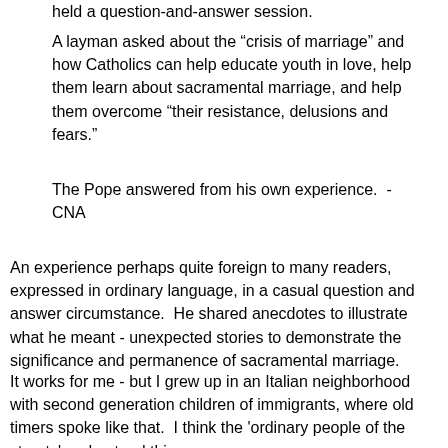held a question-and-answer session.
A layman asked about the “crisis of marriage” and how Catholics can help educate youth in love, help them learn about sacramental marriage, and help them overcome “their resistance, delusions and fears.”
The Pope answered from his own experience.  - CNA
An experience perhaps quite foreign to many readers, expressed in ordinary language, in a casual question and answer circumstance.  He shared anecdotes to illustrate what he meant - unexpected stories to demonstrate the significance and permanence of sacramental marriage.
It works for me - but I grew up in an Italian neighborhood with second generation children of immigrants, where old timers spoke like that.  I think the 'ordinary people of the streets' understand this pope.